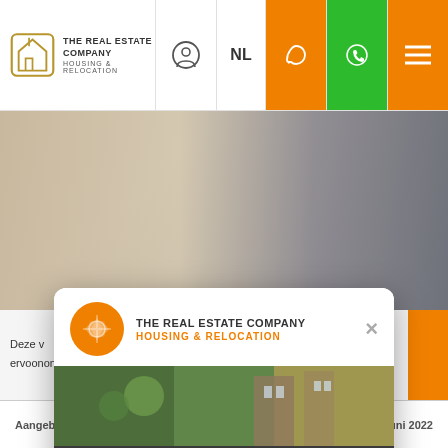[Figure (screenshot): Navigation bar of The Real Estate Company website with logo, NL language selector, phone icon (orange), WhatsApp icon (green), and hamburger menu (orange)]
[Figure (photo): Background website photo showing a modern living room with wooden floor, coffee table and grey sofa]
[Figure (screenshot): Modal popup with The Real Estate Company branding, an image of a building, dark grey background with bold white text 'Wat is jouw huis waard?' and an orange 'Gratis rapport' button with house icon]
Deze ...ervoononze v...ing
Aangeboden sinds    Woensday 15 juni 2022